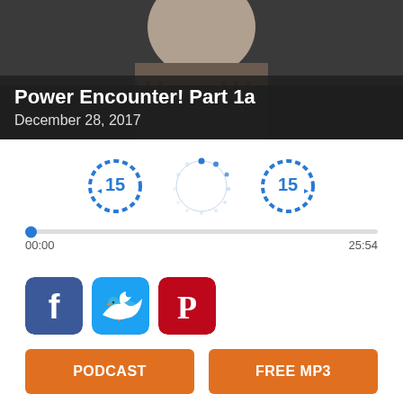[Figure (photo): Portrait photo of a man in a dark striped shirt, partially visible at top]
Power Encounter! Part 1a
December 28, 2017
[Figure (other): Audio player controls: rewind 15s, play/loading spinner, forward 15s; progress bar at 00:00 / 25:54]
[Figure (other): Social share buttons: Facebook, Twitter, Pinterest]
PODCAST
FREE MP3
On Paul's way to Rome, he encountered both victory and opposition. While in Ephesus, he interacted with the spirit world in a dramatic way. Skip looks at this time of Paul's